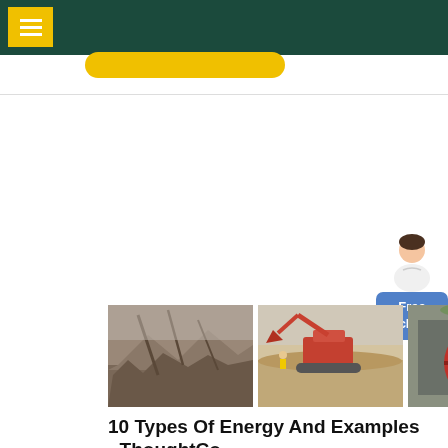ThoughtCo navigation header
[Figure (photo): Three construction/demolition photos in a row: rubble/demolished building, excavator in sandy terrain, industrial machinery with red wheel]
10 Types Of Energy And Examples - ThoughtCo
May 31, 2019 · Example: Nuclear fission, nuclear fusion, and nuclear decay are examples of nuclear energy. An atomic detonation or power